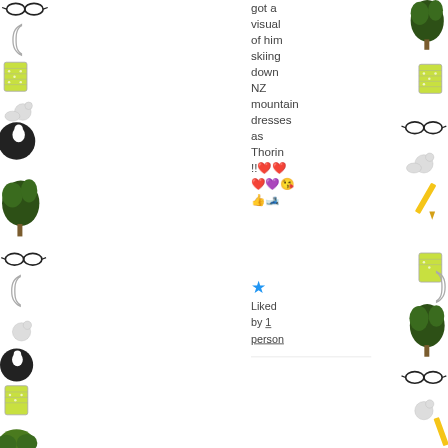[Figure (illustration): Decorative background with scattered illustrations of glasses, trees, graters, mice, and parenthesis shapes on left and right edges of the page]
got a visual of him skiing down NZ mountain dresses as Thorin !!❤❤❤💜😘👍🎿
★ Liked by 1 person